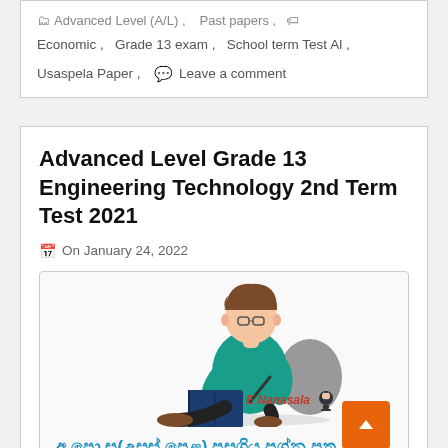Advanced Level (A/L), Past papers, Economic, Grade 13 exam, School term Test Al, Usaspela Paper, Leave a comment
Advanced Level Grade 13 Engineering Technology 2nd Term Test 2021
On January 24, 2022
[Figure (illustration): Illustration of a student sitting and reading/writing, with E Nanasala logo and Sinhala text reading 'අ.පො.ස(උසස් පෙළ) පසුගිය ප්‍රශ්න පතු']